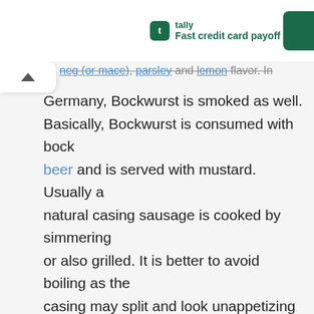[Figure (other): Tally app advertisement banner with green logo icon and text 'tally Fast credit card payoff' on white background with dark green rounded rectangle on right edge]
neg (or mace), parsley and lemon flavor. In Germany, Bockwurst is smoked as well. Basically, Bockwurst is consumed with bock beer and is served with mustard. Usually a natural casing sausage is cooked by simmering or also grilled. It is better to avoid boiling as the casing may split and look unappetizing and might also lose its flavor to cooking water. Bockwurst resembles Bavarian Weisswurst in taste as well as color.